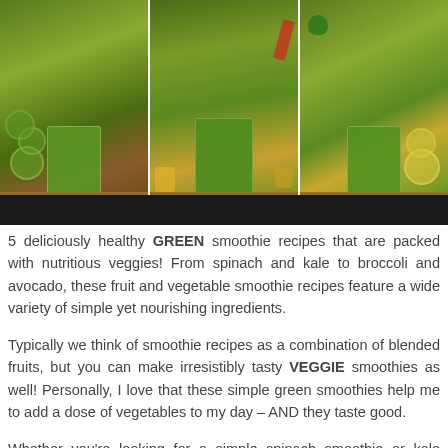[Figure (photo): Three photos of green smoothies in glasses arranged side by side, with various vegetables and fruits visible around the glasses on wooden surfaces]
5 deliciously healthy GREEN smoothie recipes that are packed with nutritious veggies! From spinach and kale to broccoli and avocado, these fruit and vegetable smoothie recipes feature a wide variety of simple yet nourishing ingredients.
Typically we think of smoothie recipes as a combination of blended fruits, but you can make irresistibly tasty VEGGIE smoothies as well! Personally, I love that these simple green smoothies help me to add a dose of vegetables to my day – AND they taste good.
Whether you're looking for a simple spinach smoothie or kale smoothie recipe, or you're feeling adventurous and ready to try a